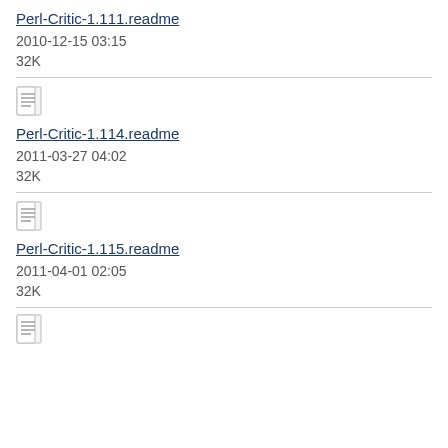Perl-Critic-1.111.readme
2010-12-15 03:15
32K
Perl-Critic-1.114.readme
2011-03-27 04:02
32K
Perl-Critic-1.115.readme
2011-04-01 02:05
32K